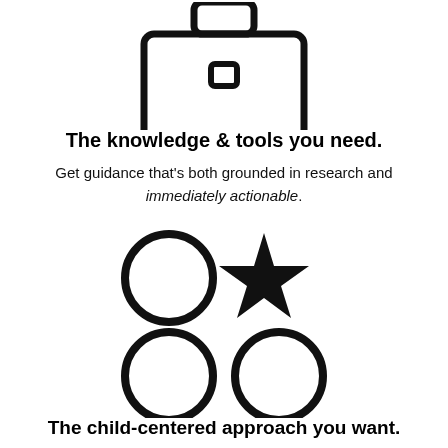[Figure (illustration): Briefcase/bag icon shown partially at top of page, drawn in outline style]
The knowledge & tools you need.
Get guidance that's both grounded in research and immediately actionable.
[Figure (illustration): Four icons arranged in a 2x2 grid: top-left is a circle outline, top-right is a solid black star, bottom-left is a circle outline, bottom-right is a circle outline]
The child-centered approach you want.